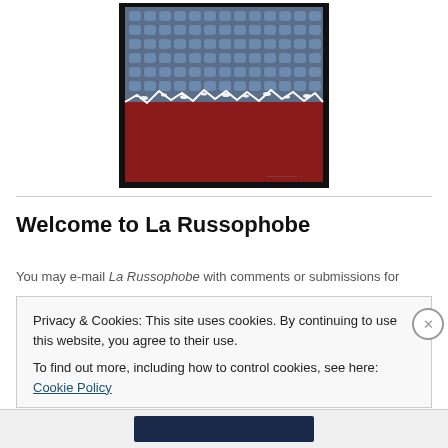[Figure (illustration): Framed artwork showing rows of blue seats or figures at the top half and a solid dark red lower half, with a white jagged line separating the two sections. Black border frame. Artist signature at bottom right.]
Welcome to La Russophobe
You may e-mail La Russophobe with comments or submissions for
Privacy & Cookies: This site uses cookies. By continuing to use this website, you agree to their use.
To find out more, including how to control cookies, see here: Cookie Policy
Close and accept